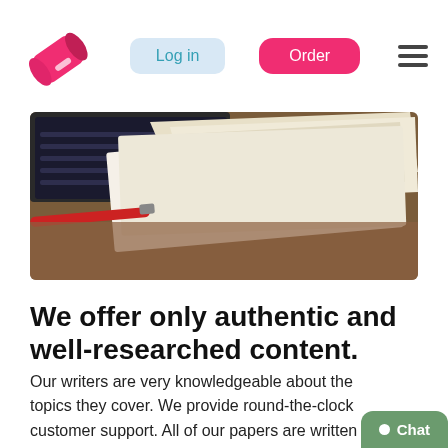Log in | Order
[Figure (photo): A photograph showing an open laptop with papers and documents on a wooden desk surface, with a red pen visible.]
We offer only authentic and well-researched content.
Our writers are very knowledgeable about the topics they cover. We provide round-the-clock customer support. All of our papers are written from scratch on a 100% non-plagiarized basis. We guarantee the highest quality of our papers with our help with economics homework services. Again, our prices are highly afforda...